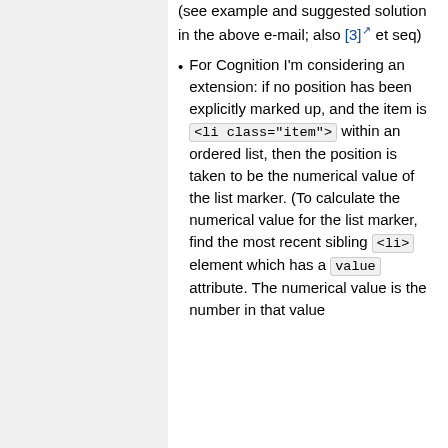(see example and suggested solution in the above e-mail; also [3] et seq)
For Cognition I'm considering an extension: if no position has been explicitly marked up, and the item is <li class="item"> within an ordered list, then the position is taken to be the numerical value of the list marker. (To calculate the numerical value for the list marker, find the most recent sibling <li> element which has a value attribute. The numerical value is the number in that value